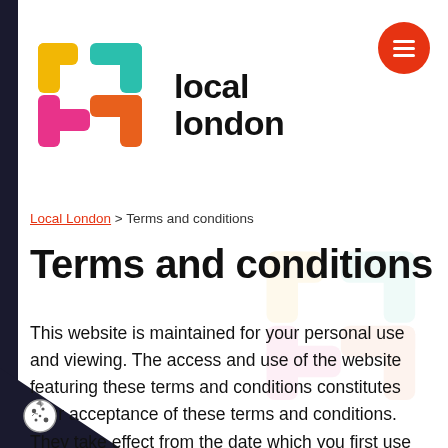[Figure (logo): Local London logo with coloured cross/plus symbol and bold 'local london' text]
Local London > Terms and conditions
Terms and conditions
This website is maintained for your personal use and viewing. The access and use of the website featuring these terms and conditions constitutes your acceptance of these terms and conditions. They take effect from the date which you first use this website.